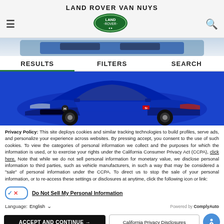LAND ROVER VAN NUYS
[Figure (logo): Land Rover oval green logo with white text LAND ROVER]
[Figure (photo): Partial top view of a blue Honda Civic car]
RESULTS   FILTERS   SEARCH
[Figure (photo): Blue Honda Civic Si front three-quarter view on white background]
Privacy Policy: This site deploys cookies and similar tracking technologies to build profiles, serve ads, and personalize your experience across websites. By pressing accept, you consent to the use of such cookies. To view the categories of personal information we collect and the purposes for which the information is used, or to exercise your rights under the California Consumer Privacy Act (CCPA), click here. Note that while we do not sell personal information for monetary value, we disclose personal information to third parties, such as vehicle manufacturers, in such a way that may be considered a "sale" of personal information under the CCPA. To direct us to stop the sale of your personal information, or to re-access these settings or disclosures at anytime, click the following icon or link:
Do Not Sell My Personal Information
Language: English    Powered by ComplyAuto
ACCEPT AND CONTINUE →   California Privacy Disclosures